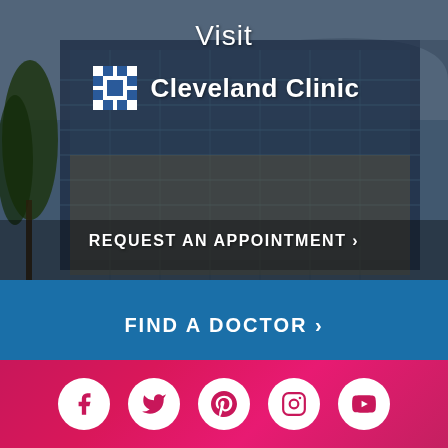[Figure (photo): Cleveland Clinic building exterior at dusk with glass facade, trees, and overlay text including 'Visit', Cleveland Clinic logo, and 'REQUEST AN APPOINTMENT >' button]
FIND A DOCTOR >
[Figure (infographic): Pink/magenta gradient footer bar with five white circular social media icons: Facebook, Twitter, Pinterest, Instagram, YouTube]